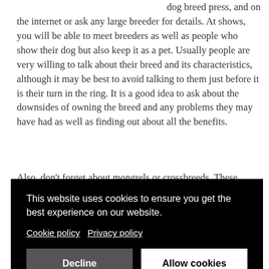dog breed press, and on the internet or ask any large breeder for details. At shows, you will be able to meet breeders as well as people who show their dog but also keep it as a pet. Usually people are very willing to talk about their breed and its characteristics, although it may be best to avoid talking to them just before it is their turn in the ring. It is a good idea to ask about the downsides of owning the breed and any problems they may have had as well as finding out about all the benefits.
Also, don't forget about mongrels or crossbreeds. These usually have a mixture of characteristics and may be a good alternative to pedigree dogs with their attendant strong traits and inherited diseases.
[Figure (screenshot): Cookie consent banner with black background. Text reads: 'This website uses cookies to ensure you get the best experience on our website.' with links to 'Cookie policy' and 'Privacy policy', and two buttons: 'Decline' (dark) and 'Allow cookies' (white).]
...by ...eed ...r a ...to ...e. ...on breeds.